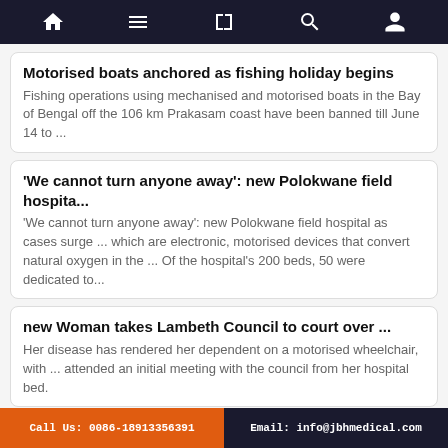Navigation bar with home, menu, book, search, profile icons
Motorised boats anchored as fishing holiday begins
Fishing operations using mechanised and motorised boats in the Bay of Bengal off the 106 km Prakasam coast have been banned till June 14 to ...
'We cannot turn anyone away': new Polokwane field hospita...
'We cannot turn anyone away': new Polokwane field hospital as cases surge ... which are electronic, motorised devices that convert natural oxygen in the ... Of the hospital's 200 beds, 50 were dedicated to...
new Woman takes Lambeth Council to court over ...
Her disease has rendered her dependent on a motorised wheelchair, with ... attended an initial meeting with the council from her hospital bed.
Related Search
surgical mask amazon
disposable face mask price
patient on hospital bed
patient air lift
low hospital bed
Call Us: 0086-18913356391   Email: info@jbhmedical.com